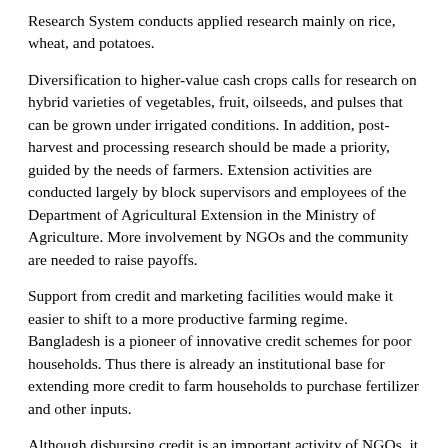Research System conducts applied research mainly on rice, wheat, and potatoes.
Diversification to higher-value cash crops calls for research on hybrid varieties of vegetables, fruit, oilseeds, and pulses that can be grown under irrigated conditions. In addition, post-harvest and processing research should be made a priority, guided by the needs of farmers. Extension activities are conducted largely by block supervisors and employees of the Department of Agricultural Extension in the Ministry of Agriculture. More involvement by NGOs and the community are needed to raise payoffs.
Support from credit and marketing facilities would make it easier to shift to a more productive farming regime. Bangladesh is a pioneer of innovative credit schemes for poor households. Thus there is already an institutional base for extending more credit to farm households to purchase fertilizer and other inputs.
Although disbursing credit is an important activity of NGOs, it accounts for only about 10-15...